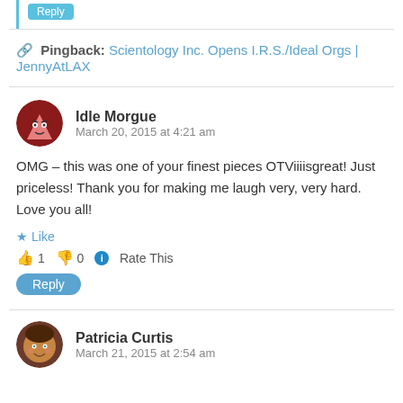Pingback: Scientology Inc. Opens I.R.S./Ideal Orgs | JennyAtLAX
Idle Morgue
March 20, 2015 at 4:21 am
OMG – this was one of your finest pieces OTViiiisgreat! Just priceless! Thank you for making me laugh very, very hard. Love you all!
Like
1  0  Rate This
Reply
Patricia Curtis
March 21, 2015 at 2:54 am